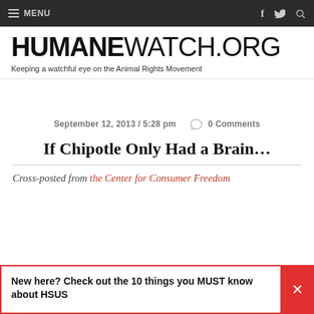MENU | f | twitter | search
HUMANEWATCH.ORG
Keeping a watchful eye on the Animal Rights Movement
September 12, 2013 / 5:28 pm   0 Comments
If Chipotle Only Had a Brain…
Cross-posted from the Center for Consumer Freedom
New here? Check out the 10 things you MUST know about HSUS